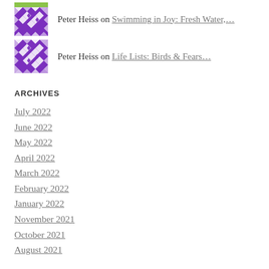[Figure (illustration): Purple and white geometric quilt-pattern avatar for Peter Heiss with green accent at top]
Peter Heiss on Swimming in Joy: Fresh Water,...
[Figure (illustration): Purple and white geometric quilt-pattern avatar for Peter Heiss]
Peter Heiss on Life Lists: Birds & Fears...
ARCHIVES
July 2022
June 2022
May 2022
April 2022
March 2022
February 2022
January 2022
November 2021
October 2021
August 2021